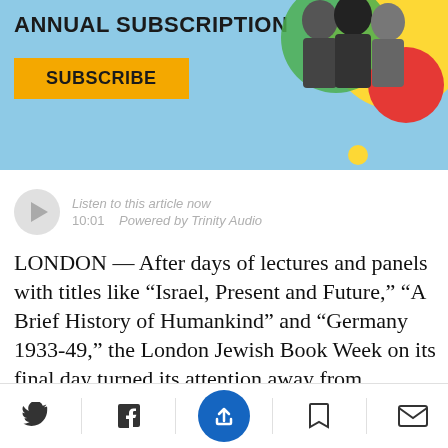ANNUAL SUBSCRIPTION
SUBSCRIBE
[Figure (illustration): Decorative banner with photo of people (politicians/public figures) in black and white, with colorful geometric circles in yellow, green, and red on a light blue background.]
Listen to this article now
10:01   Powered by Trinity Audio
LONDON — After days of lectures and panels with titles like “Israel, Present and Future,” “A Brief History of Humankind” and “Germany 1933-49,” the London Jewish Book Week on its final day turned its attention away from weighty Israeli authors, new Holocaust literature and age-old Israel and Palestine
[Figure (screenshot): Bottom navigation toolbar with Twitter, Facebook, share (blue circle), bookmark, and email icons.]